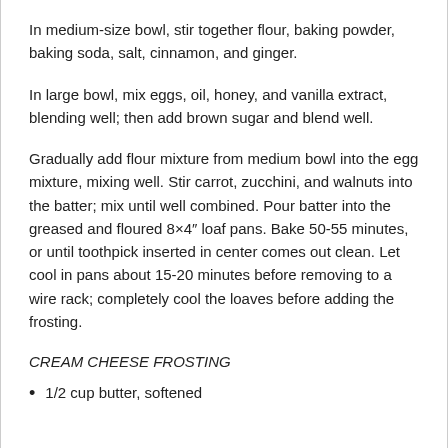In medium-size bowl, stir together flour, baking powder, baking soda, salt, cinnamon, and ginger.
In large bowl, mix eggs, oil, honey, and vanilla extract, blending well; then add brown sugar and blend well.
Gradually add flour mixture from medium bowl into the egg mixture, mixing well. Stir carrot, zucchini, and walnuts into the batter; mix until well combined. Pour batter into the greased and floured 8×4″ loaf pans. Bake 50-55 minutes, or until toothpick inserted in center comes out clean. Let cool in pans about 15-20 minutes before removing to a wire rack; completely cool the loaves before adding the frosting.
CREAM CHEESE FROSTING
1/2 cup butter, softened